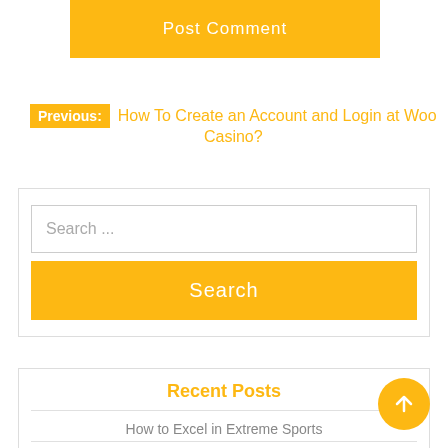Post Comment
Previous: How To Create an Account and Login at Woo Casino?
Search ...
Search
Recent Posts
How to Excel in Extreme Sports
How To Create an Account and Login at Woo Casino?